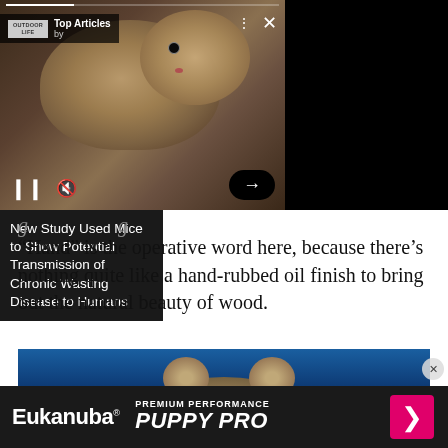[Figure (screenshot): Video player widget overlay showing a mouse/rodent close-up photo with 'Top Articles' bar, pause button, mute icon, arrow button, and article title panel on the right.]
New Study Used Mice to Show Potential Transmission of Chronic Wasting Disease to Humans
“Hand” is the operative word here, because there’s nothing quite like a hand-rubbed oil finish to bring out the natural beauty of wood.
[Figure (photo): Close-up photo of a mouse or rodent viewed from behind/above, with blue background.]
[Figure (screenshot): Eukanuba advertisement banner: 'PREMIUM PERFORMANCE PUPPY PRO' with pink arrow button on dark background.]